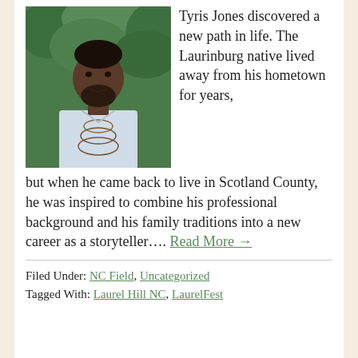[Figure (photo): A man with a beard wearing a light blue button-up shirt and layered beaded necklaces, standing in front of green foliage. He is smiling slightly.]
Tyris Jones discovered a new path in life. The Laurinburg native lived away from his hometown for years, but when he came back to live in Scotland County, he was inspired to combine his professional background and his family traditions into a new career as a storyteller.... Read More →
Filed Under: NC Field, Uncategorized
Tagged With: Laurel Hill NC, LaurelFest
Tagged With: Laurel Hill NC, LaurelFest